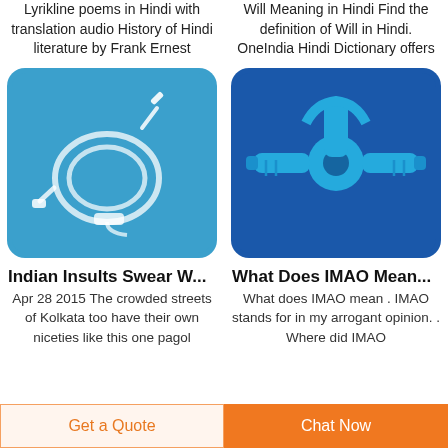Lyrikline poems in Hindi with translation audio History of Hindi literature by Frank Ernest
Will Meaning in Hindi Find the definition of Will in Hindi. OneIndia Hindi Dictionary offers
[Figure (photo): IV drip tubing coiled on blue background]
[Figure (photo): Blue three-way stopcock medical connector on blue background]
Indian Insults Swear W...
What Does IMAO Mean...
Apr 28 2015  The crowded streets of Kolkata too have their own niceties like this one pagol
What does IMAO mean . IMAO stands for in my arrogant opinion. . Where did IMAO
Get a Quote
Chat Now